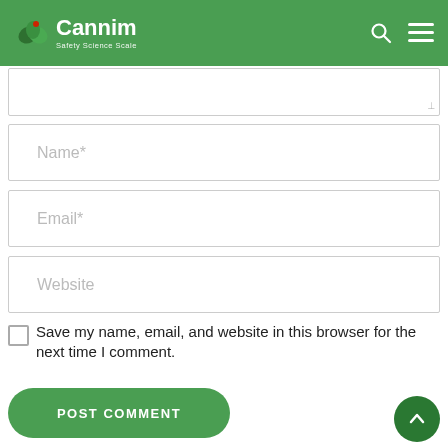Cannim — Safety Science Scale
[Figure (screenshot): Textarea input field (partial, top of page)]
[Figure (screenshot): Name* text input field]
[Figure (screenshot): Email* text input field]
[Figure (screenshot): Website text input field]
Save my name, email, and website in this browser for the next time I comment.
[Figure (screenshot): POST COMMENT button (green rounded rectangle)]